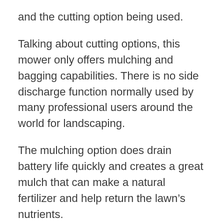and the cutting option being used.
Talking about cutting options, this mower only offers mulching and bagging capabilities. There is no side discharge function normally used by many professional users around the world for landscaping.
The mulching option does drain battery life quickly and creates a great mulch that can make a natural fertilizer and help return the lawn’s nutrients.
It happens by keeping the grass clippings in circulation while the blades slice them up into finer bits.
The bagging function makes the lawn look tidy as it clears the debris along with the grass clippings, but there is an additional cost of disposing them to a